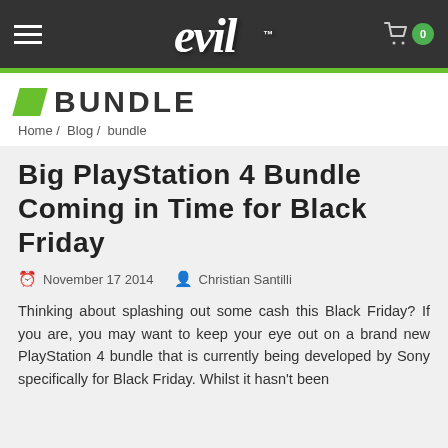evil — navigation header with hamburger menu and cart
BUNDLE
Home / Blog / bundle
Big PlayStation 4 Bundle Coming in Time for Black Friday
November 17 2014   Christian Santilli
Thinking about splashing out some cash this Black Friday? If you are, you may want to keep your eye out on a brand new PlayStation 4 bundle that is currently being developed by Sony specifically for Black Friday. Whilst it hasn't been